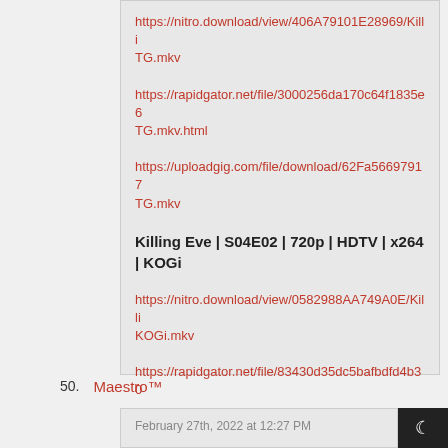https://nitro.download/view/406A79101E28969/Killi TG.mkv
https://rapidgator.net/file/3000256da170c64f1835e6 TG.mkv.html
https://uploadgig.com/file/download/62Fa56697917 TG.mkv
Killing Eve | S04E02 | 720p | HDTV | x264 | KOGi
https://nitro.download/view/0582988AA749A0E/Killi KOGi.mkv
https://rapidgator.net/file/83430d35dc5bafbdfd4b30
50. Maestro™
February 27th, 2022 at 12:27 PM